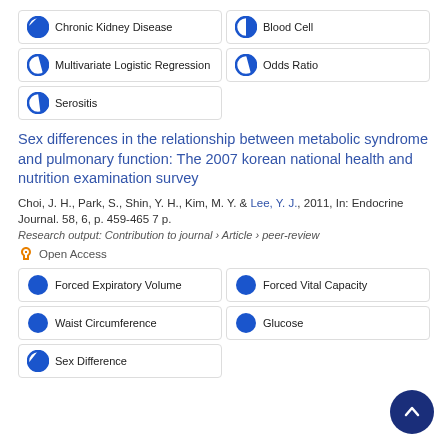Chronic Kidney Disease
Blood Cell
Multivariate Logistic Regression
Odds Ratio
Serositis
Sex differences in the relationship between metabolic syndrome and pulmonary function: The 2007 korean national health and nutrition examination survey
Choi, J. H., Park, S., Shin, Y. H., Kim, M. Y. & Lee, Y. J., 2011, In: Endocrine Journal. 58, 6, p. 459-465 7 p.
Research output: Contribution to journal › Article › peer-review
Open Access
Forced Expiratory Volume
Forced Vital Capacity
Waist Circumference
Glucose
Sex Difference